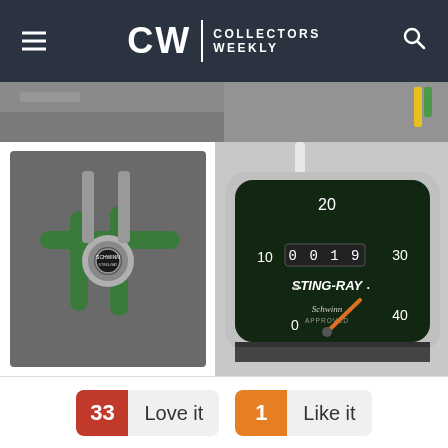CW | COLLECTORS WEEKLY
[Figure (photo): Top-left cropped photo of a bicycle part on grey background]
[Figure (photo): Top-right cropped photo of bicycle detail with yellow cable]
[Figure (photo): Close-up of green Schwinn bicycle handlebar stem with Schwinn badge]
[Figure (photo): Schwinn Sting-Ray speedometer gauge showing 0-40 mph, Schwinn Approved branding, orange needle at 0]
33 Love it
1 Like it